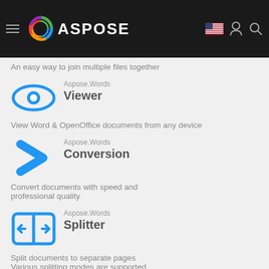ASPOSE
An easy way to join multiple files together
[Figure (logo): Blue eye icon for Aspose.Words Viewer]
Aspose.Words Viewer
View Word & OpenOffice documents from any device
[Figure (logo): Blue chevron/arrow icon for Aspose.Words Conversion]
Aspose.Words Conversion
Convert documents with speed and professional quality
[Figure (logo): Blue split/panel icon for Aspose.Words Splitter]
Aspose.Words Splitter
Split documents to separate pages
Various splitting modes are supported